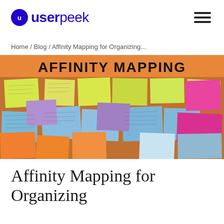userpeek
Home / Blog / Affinity Mapping for Organizing...
[Figure (photo): Hero image showing colorful sticky notes (yellow, blue, orange, pink, green, purple) with handwriting on a board, with the text 'AFFINITY MAPPING' in bold black letters on an orange background at the top.]
Affinity Mapping for Organizing Your UX Research...